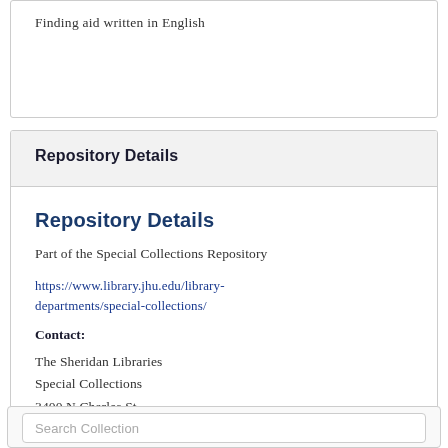Finding aid written in English
Repository Details
Repository Details
Part of the Special Collections Repository
https://www.library.jhu.edu/library-departments/special-collections/
Contact: The Sheridan Libraries Special Collections 3400 N Charles St Baltimore MD 21218 USA specialcollections@lists.jhu.edu